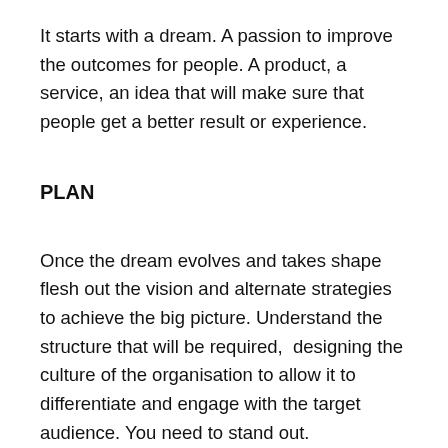It starts with a dream. A passion to improve the outcomes for people. A product, a service, an idea that will make sure that people get a better result or experience.
PLAN
Once the dream evolves and takes shape flesh out the vision and alternate strategies to achieve the big picture. Understand the structure that will be required,  designing the culture of the organisation to allow it to differentiate and engage with the target audience. You need to stand out.
IMPLEMENT